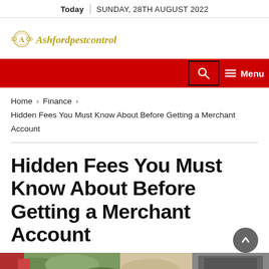Today | SUNDAY, 28TH AUGUST 2022
[Figure (logo): Ashfordpestcontrol logo with ornate emblem and italic text]
[Figure (screenshot): Red navigation bar with search icon box and Menu button]
Home > Finance > Hidden Fees You Must Know About Before Getting a Merchant Account
Hidden Fees You Must Know About Before Getting a Merchant Account
[Figure (photo): Partial photo of a plant and a dark device/book at the bottom of the page]